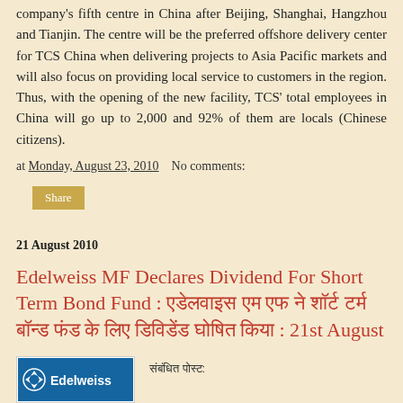company's fifth centre in China after Beijing, Shanghai, Hangzhou and Tianjin. The centre will be the preferred offshore delivery center for TCS China when delivering projects to Asia Pacific markets and will also focus on providing local service to customers in the region. Thus, with the opening of the new facility, TCS' total employees in China will go up to 2,000 and 92% of them are locals (Chinese citizens).
at Monday, August 23, 2010   No comments:
Share
21 August 2010
Edelweiss MF Declares Dividend For Short Term Bond Fund : एडेलवाइस एम एफ ने शॉर्ट टर्म बॉन्ड फंड के लिए डिविडेंड घोषित किया : 21st August
[Figure (logo): Edelweiss logo with blue background and white text]
संबंधित पोस्ट: